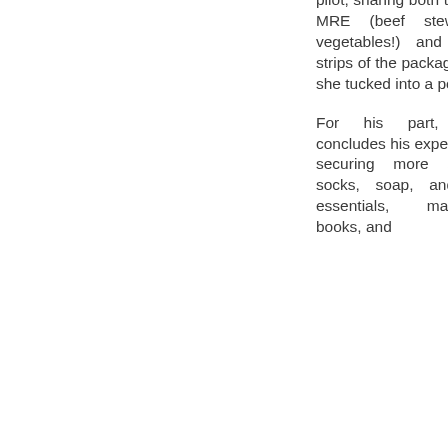pilot, sharing both the flying MRE (beef stew, with vegetables!) and a few strips of the packaged jerky she tucked into a pocket.
For his part, Marko concludes his expedition by securing more skivvies, socks, soap, and other essentials, magazines, books, and